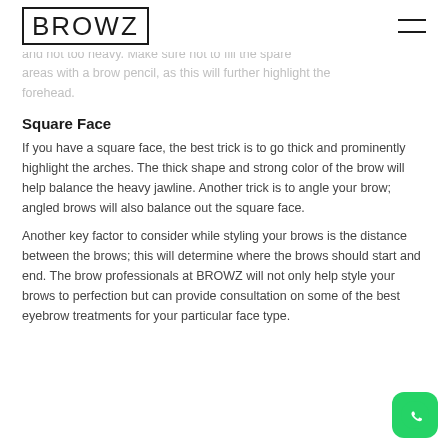BROWZ
ment is the most natural brow that will differentiate that compliments the entire face. Try to keep the brow shape straight and not too heavy. Make sure not to fill the sparse areas with a brow pencil, as this will further highlight the forehead.
Square Face
If you have a square face, the best trick is to go thick and prominently highlight the arches. The thick shape and strong color of the brow will help balance the heavy jawline. Another trick is to angle your brow; angled brows will also balance out the square face.
Another key factor to consider while styling your brows is the distance between the brows; this will determine where the brows should start and end. The brow professionals at BROWZ will not only help style your brows to perfection but can provide consultation on some of the best eyebrow treatments for your particular face type.